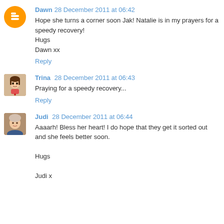Dawn 28 December 2011 at 06:42
Hope she turns a corner soon Jak! Natalie is in my prayers for a speedy recovery!
Hugs
Dawn xx
Reply
Trina 28 December 2011 at 06:43
Praying for a speedy recovery...
Reply
Judi 28 December 2011 at 06:44
Aaaarh! Bless her heart! I do hope that they get it sorted out and she feels better soon.

Hugs

Judi x